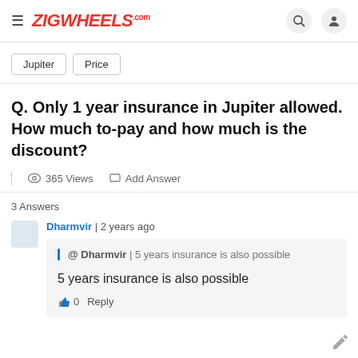ZIGWHEELS.com
Jupiter
Price
Q. Only 1 year insurance in Jupiter allowed. How much to-pay and how much is the discount?
365 Views | Add Answer
3 Answers
Dharmvir | 2 years ago
@ Dharmvir | 5 years insurance is also possible
5 years insurance is also possible
0  Reply